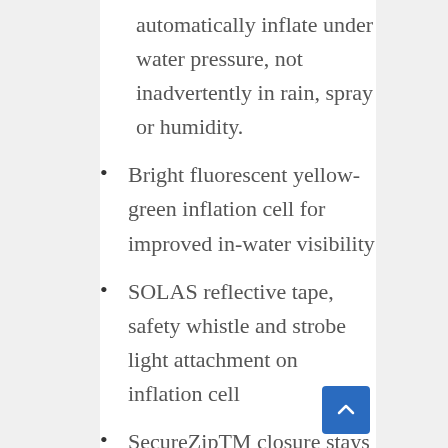automatically inflate under water pressure, not inadvertently in rain, spray or humidity.
Bright fluorescent yellow-green inflation cell for improved in-water visibility
SOLAS reflective tape, safety whistle and strobe light attachment on inflation cell
SecureZipTM closure stays shut in high winds and still opens easily on inflation